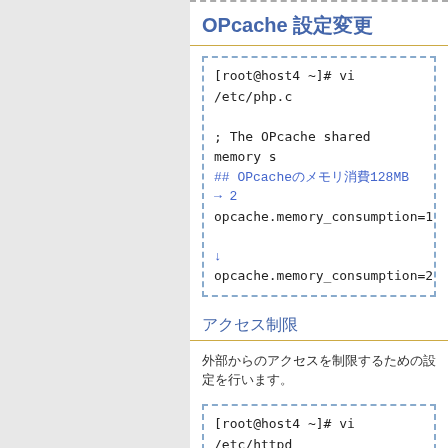OPcache 設定変更
[Figure (screenshot): Code block showing vi /etc/php.c command, OPcache shared memory comment, ## OPcache設定でのメモリ消費128MB → 2 comment in blue, opcache.memory_consumption=12, arrow down, opcache.memory_consumption=25]
アクセス制限
外部からのアクセスを制限するための設定を行います。
[Figure (screenshot): Code block showing vi /etc/httpd command, Directory /var/www/html/awaj, Order Deny Allow, Deny from all, Allow from 127.0.0.1 192.1, /Directory]